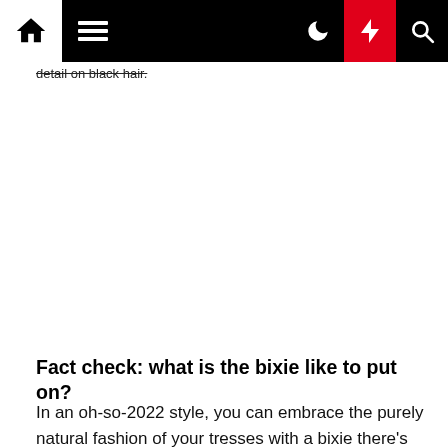Home | Menu | Dark mode | Bolt | Search
detail on black hair.
[Figure (photo): Blank/white image area placeholder for a photo related to bixie hairstyle on black hair.]
Fact check: what is the bixie like to put on?
In an oh-so-2022 style, you can embrace the purely natural fashion of your tresses with a bixie there's no 1 way to put on it, whether curly, coily, wavy or straight. In fact, the much less *performed* it